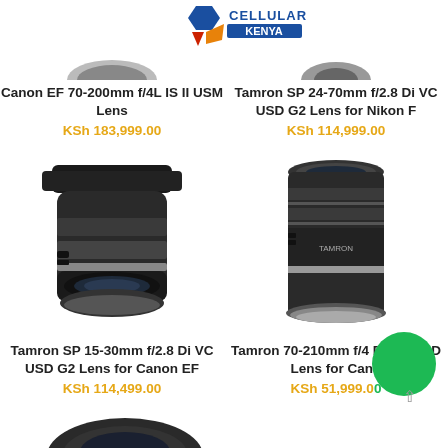[Figure (logo): Cellular Kenya logo with blue/orange/red geometric shapes and text CELLULAR KENYA]
Canon EF 70-200mm f/4L IS II USM Lens
KSh 183,999.00
Tamron SP 24-70mm f/2.8 Di VC USD G2 Lens for Nikon F
KSh 114,999.00
[Figure (photo): Tamron SP 15-30mm f/2.8 Di VC USD G2 lens for Canon EF, black wide-angle lens with hood]
Tamron SP 15-30mm f/2.8 Di VC USD G2 Lens for Canon EF
KSh 114,499.00
[Figure (photo): Tamron 70-210mm f/4 Di VC USD telephoto lens, black cylindrical lens]
Tamron 70-210mm f/4 Di VC USD Lens for Canon
KSh 51,999.00
[Figure (photo): Partial view of a camera lens at the bottom of the page]